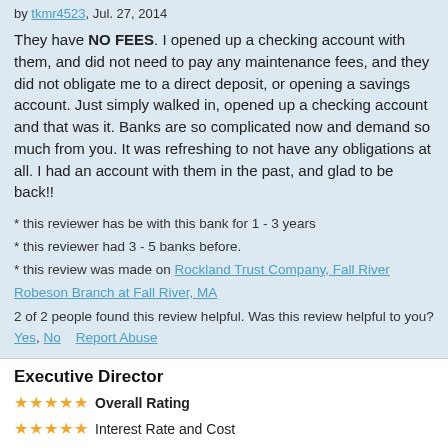by tkmr4523, Jul. 27, 2014
They have NO FEES.  I opened up a checking account with them, and did not need to pay any maintenance fees, and they did not obligate me to a direct deposit, or opening a savings account. Just simply walked in, opened up a checking account and that was it.  Banks are so complicated now and demand so much from you. It was refreshing to not have any obligations at all. I had an account with them in the past, and glad to be back!!
* this reviewer has be with this bank for 1 - 3 years
* this reviewer had 3 - 5 banks before.
* this review was made on Rockland Trust Company, Fall River Robeson Branch at Fall River, MA
2 of 2 people found this review helpful. Was this review helpful to you? Yes, No    Report Abuse
0 comment. Add a comment
Executive Director
★★★★★ Overall Rating
★★★★★ Interest Rate and Cost
★★★★★ Office Environment & Staff
★★★★☆ Waiting Time